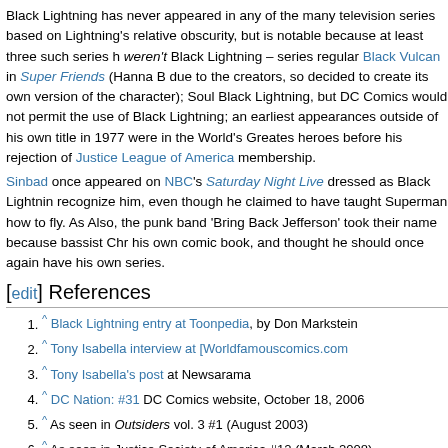Black Lightning has never appeared in any of the many television series based on Lightning's relative obscurity, but is notable because at least three such series weren't Black Lightning – series regular Black Vulcan in Super Friends (Hanna B due to the creators, so decided to create its own version of the character); Soul Black Lightning, but DC Comics would not permit the use of Black Lightning; and earliest appearances outside of his own title in 1977 were in the World's Greatest heroes before his rejection of Justice League of America membership.
Sinbad once appeared on NBC's Saturday Night Live dressed as Black Lightning recognize him, even though he claimed to have taught Superman how to fly. As Also, the punk band 'Bring Back Jefferson' took their name because bassist Chr his own comic book, and thought he should once again have his own series.
[edit] References
1. ^ Black Lightning entry at Toonpedia, by Don Markstein
2. ^ Tony Isabella interview at [Worldfamouscomics.com
3. ^ Tony Isabella's post at Newsarama
4. ^ DC Nation: #31 DC Comics website, October 18, 2006
5. ^ As seen in Outsiders vol. 3 #1 (August 2003)
6. ^ As seen in Justice Society of America #12 (March 2008)
7. ^ GCDÂ :: Issue Details
8. ^ GCDÂ :: Issue Details